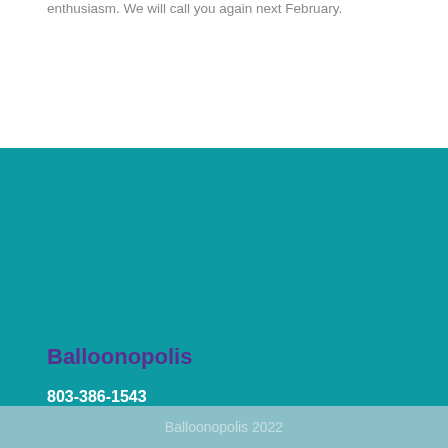enthusiasm. We will call you again next February.
Balloonopolis
803-386-1543
admin@balloonopolis.com
Balloonopolis 2022